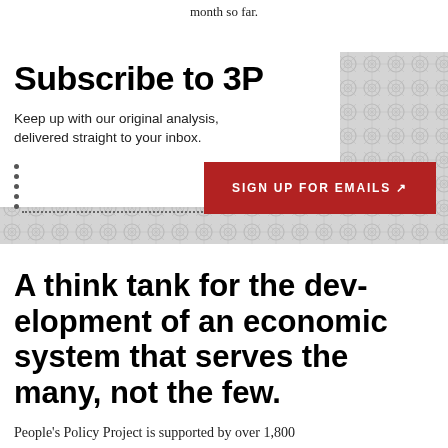month so far.
Subscribe to 3P
Keep up with our original analysis, delivered straight to your inbox.
SIGN UP FOR EMAILS ↗
A think tank for the development of an economic system that serves the many, not the few.
People's Policy Project is supported by over 1,800